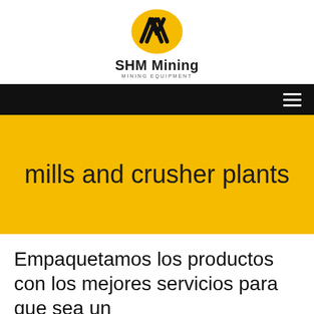[Figure (logo): SHM Mining logo — yellow oval with black diagonal lines/stripes forming a stylized 'M' or wave pattern]
SHM Mining
MINING EQUIPMENT
[Figure (other): Black navigation bar with hamburger menu icon (three horizontal white lines) on the right]
mills and crusher plants
Empaquetamos los productos con los mejores servicios para que sea un